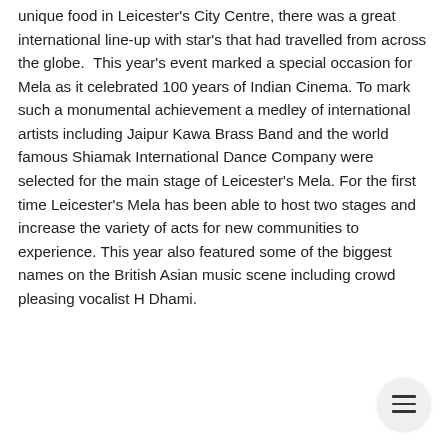unique food in Leicester's City Centre, there was a great international line-up with star's that had travelled from across the globe. This year's event marked a special occasion for Mela as it celebrated 100 years of Indian Cinema. To mark such a monumental achievement a medley of international artists including Jaipur Kawa Brass Band and the world famous Shiamak International Dance Company were selected for the main stage of Leicester's Mela. For the first time Leicester's Mela has been able to host two stages and increase the variety of acts for new communities to experience. This year also featured some of the biggest names on the British Asian music scene including crowd pleasing vocalist H Dhami.